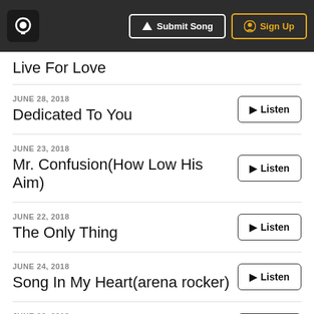Submit Song | Sign Up
Live For Love
JUNE 28, 2018 — Dedicated To You
JUNE 23, 2018 — Mr. Confusion(How Low His Aim)
JUNE 22, 2018 — The Only Thing
JUNE 24, 2018 — Song In My Heart(arena rocker)
JUNE 28, 2018 — What Have I Done...